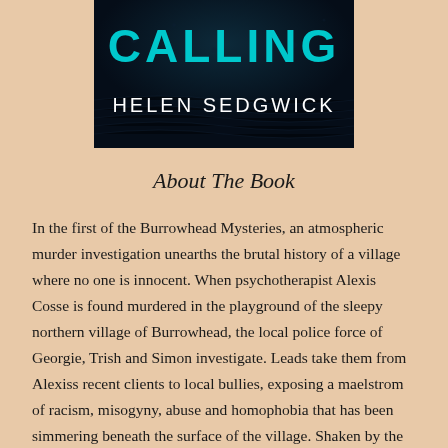[Figure (illustration): Book cover showing 'CALLING' in teal/cyan letters and 'HELEN SEDGWICK' in white letters on a dark stormy water/night sky background]
About The Book
In the first of the Burrowhead Mysteries, an atmospheric murder investigation unearths the brutal history of a village where no one is innocent. When psychotherapist Alexis Cosse is found murdered in the playground of the sleepy northern village of Burrowhead, the local police force of Georgie, Trish and Simon investigate. Leads take them from Alexiss recent clients to local bullies, exposing a maelstrom of racism, misogyny, abuse and homophobia that has been simmering beneath the surface of the village. Shaken by the revelations and beginning to doubt her relationship with her husband Fred, Georgie starts to realise something bad is lurking under